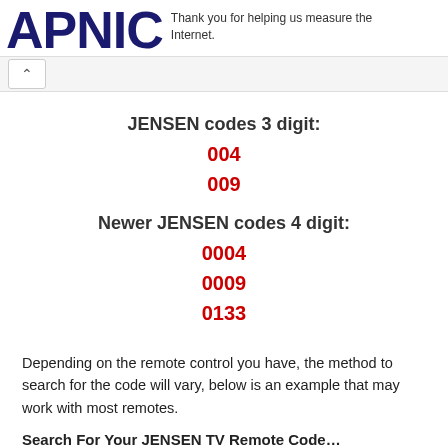APNIC — Thank you for helping us measure the Internet.
JENSEN codes 3 digit:
004
009
Newer JENSEN codes 4 digit:
0004
0009
0133
Depending on the remote control you have, the method to search for the code will vary, below is an example that may work with most remotes.
Search For Your JENSEN TV Remote Code…